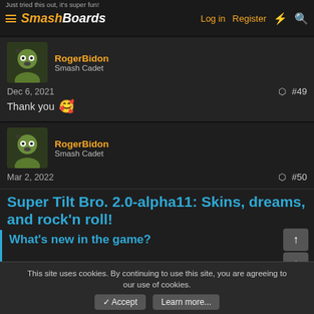Just tried this out, it's super fun! | SmashBoards | Log in | Register
RogerBidon
Smash Cadet
Dec 6, 2021 #49
Thank you 😊
RogerBidon
Smash Cadet
Mar 2, 2022 #50
Super Tilt Bro. 2.0-alpha11: Skins, dreams, and rock'n roll!
What's new in the game?
This site uses cookies. By continuing to use this site, you are agreeing to our use of cookies.